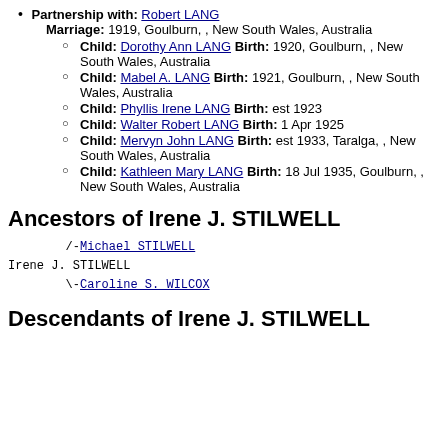Partnership with: Robert LANG Marriage: 1919, Goulburn, , New South Wales, Australia
Child: Dorothy Ann LANG Birth: 1920, Goulburn, , New South Wales, Australia
Child: Mabel A. LANG Birth: 1921, Goulburn, , New South Wales, Australia
Child: Phyllis Irene LANG Birth: est 1923
Child: Walter Robert LANG Birth: 1 Apr 1925
Child: Mervyn John LANG Birth: est 1933, Taralga, , New South Wales, Australia
Child: Kathleen Mary LANG Birth: 18 Jul 1935, Goulburn, , New South Wales, Australia
Ancestors of Irene J. STILWELL
/-Michael STILWELL
Irene J. STILWELL
\-Caroline S. WILCOX
Descendants of Irene J. STILWELL